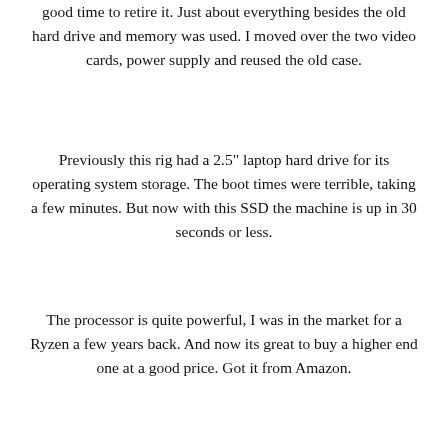good time to retire it. Just about everything besides the old hard drive and memory was used. I moved over the two video cards, power supply and reused the old case.
Previously this rig had a 2.5" laptop hard drive for its operating system storage. The boot times were terrible, taking a few minutes. But now with this SSD the machine is up in 30 seconds or less.
The processor is quite powerful, I was in the market for a Ryzen a few years back. And now its great to buy a higher end one at a good price. Got it from Amazon.